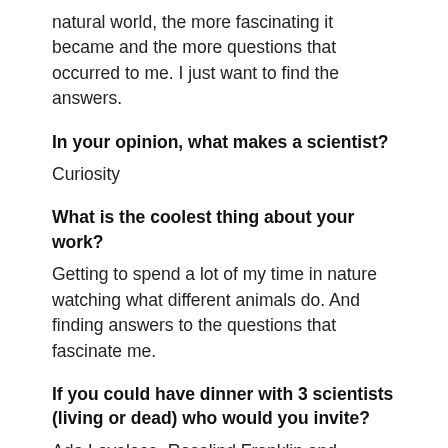natural world, the more fascinating it became and the more questions that occurred to me. I just want to find the answers.
In your opinion, what makes a scientist?
Curiosity
What is the coolest thing about your work?
Getting to spend a lot of my time in nature watching what different animals do. And finding answers to the questions that fascinate me.
If you could have dinner with 3 scientists (living or dead) who would you invite?
Ada Lovelace, Rosalind Franklin and Rachel